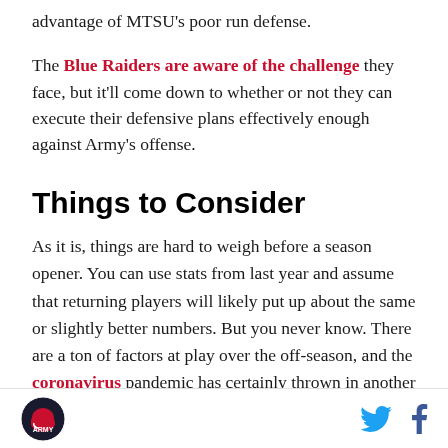advantage of MTSU’s poor run defense.
The Blue Raiders are aware of the challenge they face, but it’ll come down to whether or not they can execute their defensive plans effectively enough against Army’s offense.
Things to Consider
As it is, things are hard to weigh before a season opener. You can use stats from last year and assume that returning players will likely put up about the same or slightly better numbers. But you never know. There are a ton of factors at play over the off-season, and the coronavirus pandemic has certainly thrown in another layer of disarray.
Footer with logo and social icons